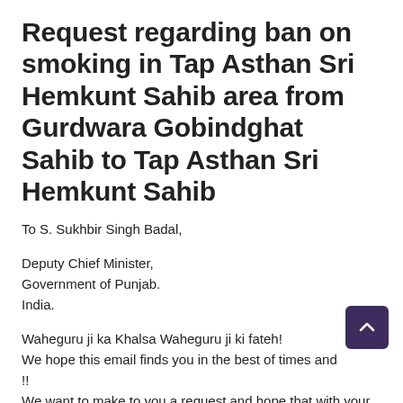Request regarding ban on smoking in Tap Asthan Sri Hemkunt Sahib area from Gurdwara Gobindghat Sahib to Tap Asthan Sri Hemkunt Sahib
To S. Sukhbir Singh Badal,
Deputy Chief Minister,
Government of Punjab.
India.
Waheguru ji ka Khalsa Waheguru ji ki fateh!
We hope this email finds you in the best of times and !!
We want to make to you a request and hope that with your